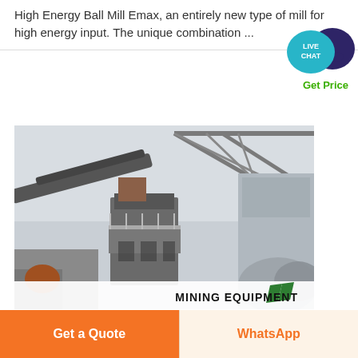High Energy Ball Mill Emax, an entirely new type of mill for high energy input. The unique combination ...
[Figure (screenshot): Live Chat widget with teal speech bubble and dark purple chat icon, with 'Get Price' text in green below]
[Figure (photo): Mining equipment facility showing industrial crushers and conveyors under a large steel frame structure. Bottom right has a white banner with green logo and text 'MINING EQUIPMENT']
Get a Quote
WhatsApp